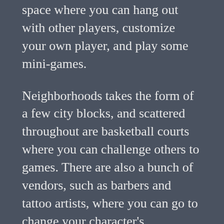space where you can hang out with other players, customize your own player, and play some mini-games.
Neighborhoods takes the form of a few city blocks, and scattered throughout are basketball courts where you can challenge others to games. There are also a bunch of vendors, such as barbers and tattoo artists, where you can go to change your character's appearance. Check out the trailer below.
//cdn.embedly.com/widgets/media.html?src=https%3A%2F%2Fwww.youtube.com%2Fembed%2F3EPHnjHu77g%3Fwmode%3Dopaque%26feature%3Doembed&wmode=opaque&url